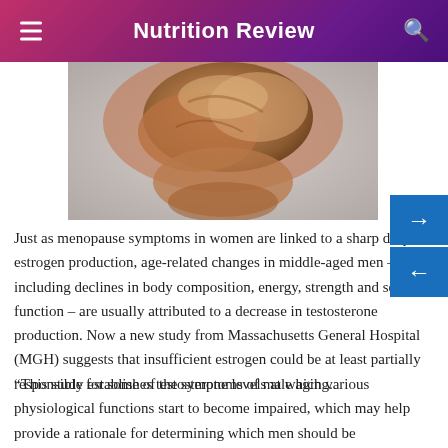Nutrition Review
[Figure (photo): Close-up photograph of a muscular male arm/shoulder showing bicep muscle flexed]
Just as menopause symptoms in women are linked to a sharp drop in estrogen production, age-related changes in middle-aged men – including declines in body composition, energy, strength and sexual function – are usually attributed to a decrease in testosterone production. Now a new study from Massachusetts General Hospital (MGH) suggests that insufficient estrogen could be at least partially responsible for some of the symptoms of male aging.
“This study establishes testosterone levels at which various physiological functions start to become impaired, which may help provide a rationale for determining which men should be